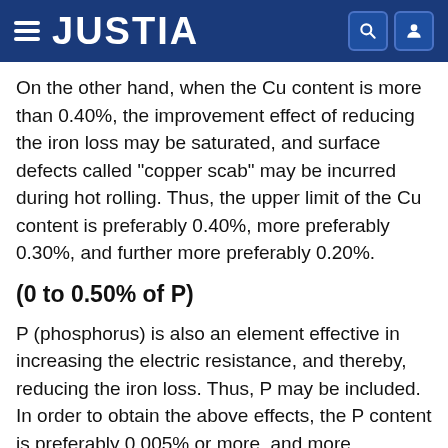JUSTIA
On the other hand, when the Cu content is more than 0.40%, the improvement effect of reducing the iron loss may be saturated, and surface defects called "copper scab" may be incurred during hot rolling. Thus, the upper limit of the Cu content is preferably 0.40%, more preferably 0.30%, and further more preferably 0.20%.
(0 to 0.50% of P)
P (phosphorus) is also an element effective in increasing the electric resistance, and thereby, reducing the iron loss. Thus, P may be included. In order to obtain the above effects, the P content is preferably 0.005% or more, and more preferably 0.010% or more.
On the other hand, when the P content is more than 0.50%, the rollability may deteriorate. Thus, the upper